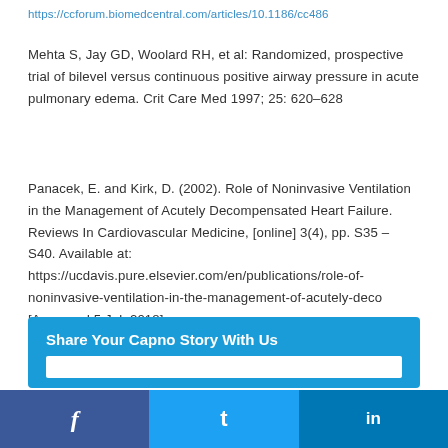https://ccforum.biomedcentral.com/articles/10.1186/cc486
Mehta S, Jay GD, Woolard RH, et al: Randomized, prospective trial of bilevel versus continuous positive airway pressure in acute pulmonary edema. Crit Care Med 1997; 25: 620–628
Panacek, E. and Kirk, D. (2002). Role of Noninvasive Ventilation in the Management of Acutely Decompensated Heart Failure. Reviews In Cardiovascular Medicine, [online] 3(4), pp. S35 – S40. Available at: https://ucdavis.pure.elsevier.com/en/publications/role-of-noninvasive-ventilation-in-the-management-of-acutely-deco [Accessed 5 Jul. 2018].
Share Your Capno Story With Us
[Figure (infographic): Social media sharing bar with Facebook, Twitter, and LinkedIn icons]